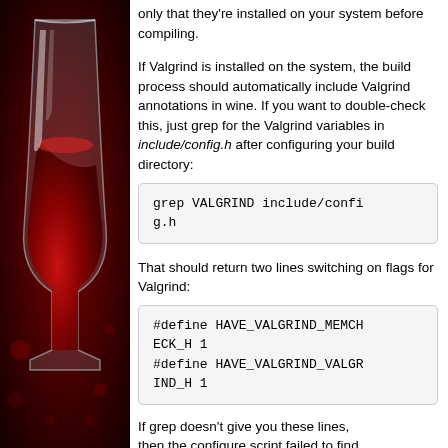[Figure (illustration): Wine logo: a red wine glass on a dark red background with decorative elements]
only that they're installed on your system before compiling.
If Valgrind is installed on the system, the build process should automatically include Valgrind annotations in wine. If you want to double-check this, just grep for the Valgrind variables in include/config.h after configuring your build directory:
grep VALGRIND include/config.h
That should return two lines switching on flags for Valgrind:
#define HAVE_VALGRIND_MEMCHECK_H 1
#define HAVE_VALGRIND_VALGRIND_H 1
If grep doesn't give you these lines, then the configure script failed to find